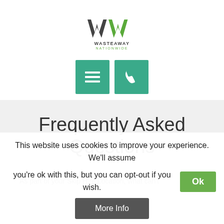[Figure (logo): WasteAway Nationwide logo with stylized WN monogram in dark and green colors]
[Figure (other): Two teal square navigation buttons: hamburger menu icon and phone icon]
Frequently Asked Questions
As part of your Skip Hire Location, what can't
This website uses cookies to improve your experience. We'll assume you're ok with this, but you can opt-out if you wish.
More Info